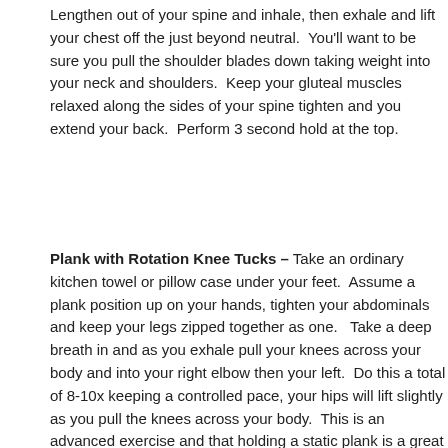Lengthen out of your spine and inhale, then exhale and lift your chest off the floor just beyond neutral.  You'll want to be sure you pull the shoulder blades down, taking weight into your neck and shoulders.  Keep your gluteal muscles relaxed along the sides of your spine tighten and you extend your back.  Perform 3 sets with a second hold at the top.
Plank with Rotation Knee Tucks – Take an ordinary kitchen towel or pillow case under your feet.  Assume a plank position up on your hands, tighten your abdominals and keep your legs zipped together as one.   Take a deep breath in and as you exhale pull your knees to your body and into your right elbow then your left.  Do this a total of 8-10x keeping a controlled pace, your hips will lift slightly as you pull the knees across your body.  This is an advanced exercise and that holding a static plank is a great alternative.  Planks can be done on your forearms or your toes or on your knees.
By Chanda Fetter
IM=X Pilates, Owner and Master Trainer. Contact Chanda via chanda@imx...
805-687-4692.
ShareThis
Filed Under: Your Fitness   Tagged With: abdominal exercises, abs, strength, fitness, getting healthy, healthy living, home fitness, Home workout...